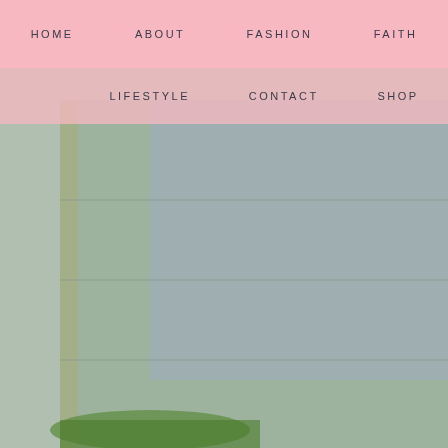HOME   ABOUT   FASHION   FAITH
LIFESTYLE   CONTACT   SHOP
[Figure (photo): Woman wearing a brown quilted vest over a white long-sleeve shirt with a navy and tan plaid scarf, holding a brown leather bag. Background shows a chain-link fence and blurred outdoor setting.]